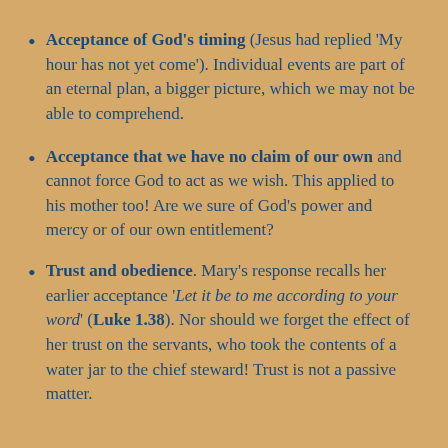Acceptance of God's timing (Jesus had replied 'My hour has not yet come'). Individual events are part of an eternal plan, a bigger picture, which we may not be able to comprehend.
Acceptance that we have no claim of our own and cannot force God to act as we wish. This applied to his mother too! Are we sure of God's power and mercy or of our own entitlement?
Trust and obedience. Mary's response recalls her earlier acceptance 'Let it be to me according to your word' (Luke 1.38). Nor should we forget the effect of her trust on the servants, who took the contents of a water jar to the chief steward! Trust is not a passive matter.